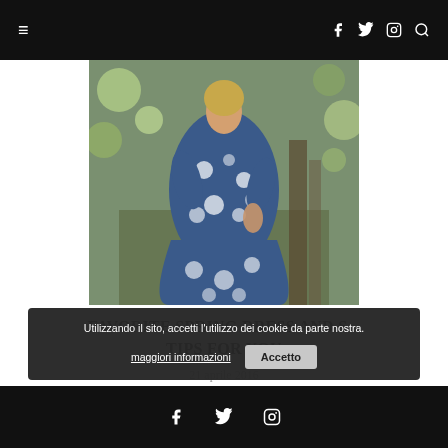≡  f  twitter  instagram  search
[Figure (photo): Woman wearing a blue and white floral/daisy print wrap dress, outdoors with green foliage in background]
FAVORITE SPRING DRESS AND SO TIPS FOR YOU
21 aprile 2016
Utilizzando il sito, accetti l'utilizzo dei cookie da parte nostra. maggiori informazioni  Accetto
La risposta da Instagram ha restituito dati non validi.
f  twitter  instagram